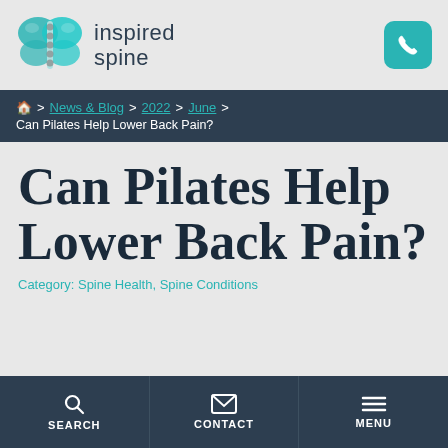[Figure (logo): Inspired Spine logo with teal butterfly and spine graphic, text reads 'inspired spine']
🏠 > News & Blog > 2022 > June > Can Pilates Help Lower Back Pain?
Can Pilates Help Lower Back Pain?
Category: Spine Health, Spine Conditions
SEARCH   CONTACT   MENU